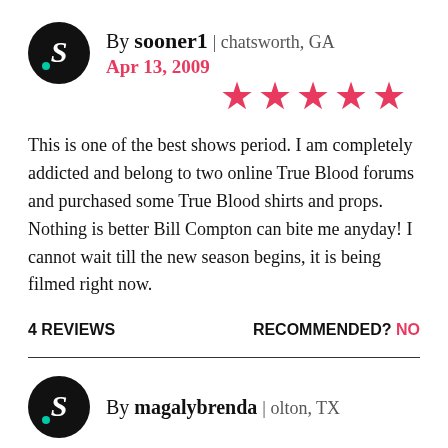By sooner1 | chatsworth, GA
Apr 13, 2009
[Figure (other): 5 pink/red stars rating]
This is one of the best shows period. I am completely addicted and belong to two online True Blood forums and purchased some True Blood shirts and props. Nothing is better Bill Compton can bite me anyday! I cannot wait till the new season begins, it is being filmed right now.
4 REVIEWS    RECOMMENDED? NO
By magalybrenda | olton, TX